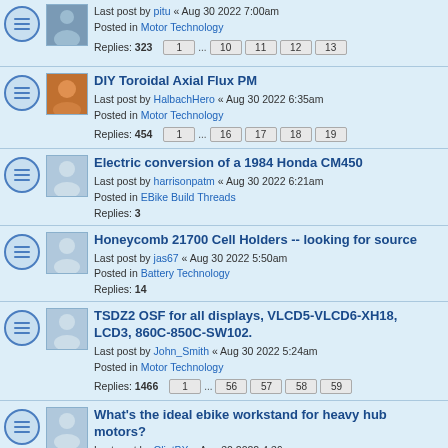Last post by pitu « Aug 30 2022 7:00am
Posted in Motor Technology
Replies: 323
Pages: 1 ... 10 11 12 13
DIY Toroidal Axial Flux PM
Last post by HalbachHero « Aug 30 2022 6:35am
Posted in Motor Technology
Replies: 454
Pages: 1 ... 16 17 18 19
Electric conversion of a 1984 Honda CM450
Last post by harrisonpatm « Aug 30 2022 6:21am
Posted in EBike Build Threads
Replies: 3
Honeycomb 21700 Cell Holders -- looking for source
Last post by jas67 « Aug 30 2022 5:50am
Posted in Battery Technology
Replies: 14
TSDZ2 OSF for all displays, VLCD5-VLCD6-XH18, LCD3, 860C-850C-SW102.
Last post by John_Smith « Aug 30 2022 5:24am
Posted in Motor Technology
Replies: 1466
Pages: 1 ... 56 57 58 59
What's the ideal ebike workstand for heavy hub motors?
Last post by ClintBX « Aug 30 2022 4:36am
Posted in EBike General Discussion
Replies: 19